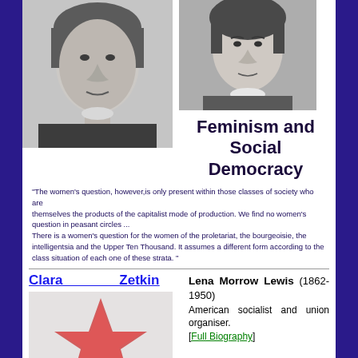[Figure (photo): Black and white portrait photograph of Clara Zetkin, left side]
[Figure (photo): Black and white portrait photograph of a woman (Emmeline Pankhurst or similar), right side upper]
Feminism and Social Democracy
“The women’s question, however,is only present within those classes of society who are themselves the products of the capitalist mode of production. We find no women’s question in peasant circles ... There is a women’s question for the women of the proletariat, the bourgeoisie, the intelligentsia and the Upper Ten Thousand. It assumes a different form according to the class situation of each one of these strata. ”
Clara Zetkin
Lena Morrow Lewis (1862-1950) American socialist and union organiser. [Full Biography]
[Figure (illustration): Red star illustration/logo at bottom left]